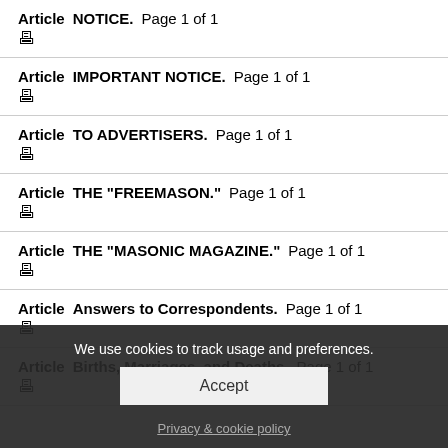Article  NOTICE.  Page 1 of 1
Article  IMPORTANT NOTICE.  Page 1 of 1
Article  TO ADVERTISERS.  Page 1 of 1
Article  THE "FREEMASON."  Page 1 of 1
Article  THE "MASONIC MAGAZINE."  Page 1 of 1
Article  Answers to Correspondents.  Page 1 of 1
Article  Births, Marriages, and Deaths.  Page 1 of 1
We use cookies to track usage and preferences.
Accept
Privacy & cookie policy